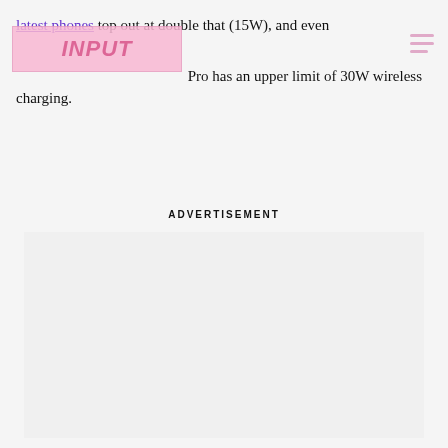latest phones top out at double that (15W), and even Samsung's Moto Pro has an upper limit of 30W wireless charging.
[Figure (logo): INPUT magazine logo overlay in pink/rose color]
ADVERTISEMENT